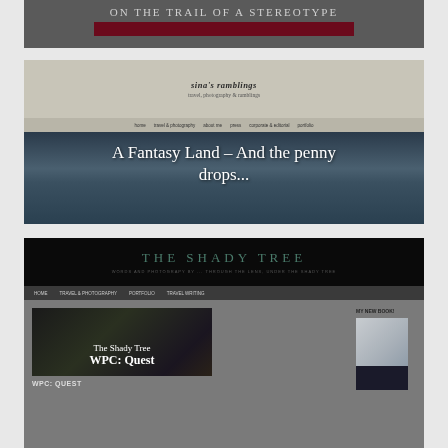[Figure (screenshot): Partial screenshot of a blog page showing 'ON THE TRAIL OF A STEREOTYPE' title with a dark red bar below]
[Figure (screenshot): Screenshot of a blog called 'sina's ramblings' with navigation bar, showing post 'A Fantasy Land – And the penny drops...' with a mountain lake reflection image]
[Figure (screenshot): Screenshot of 'THE SHADY TREE' blog showing navigation, a post image with overlay text 'The Shady Tree WPC: Quest', a WPC: QUEST label, and a sidebar with 'MY NEW BOOK!' section]